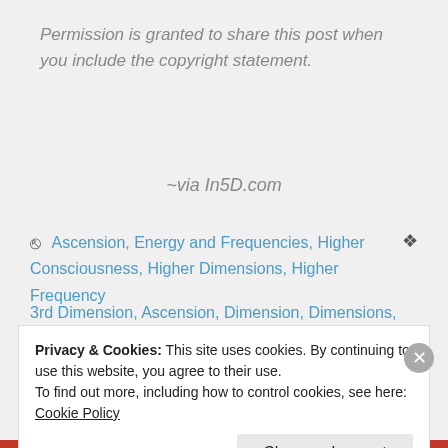Permission is granted to share this post when you include the copyright statement.
~via In5D.com
Ascension, Energy and Frequencies, Higher Consciousness, Higher Dimensions, Higher Frequency
3rd Dimension, Ascension, Dimension, Dimensions,
Privacy & Cookies: This site uses cookies. By continuing to use this website, you agree to their use.
To find out more, including how to control cookies, see here: Cookie Policy
Close and accept